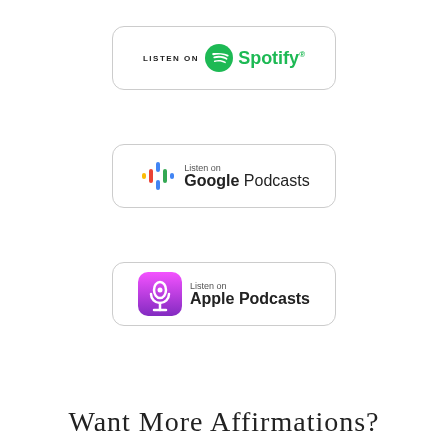[Figure (logo): Listen on Spotify badge with green Spotify logo and wordmark]
[Figure (logo): Listen on Google Podcasts badge with colorful Google Podcasts icon and wordmark]
[Figure (logo): Listen on Apple Podcasts badge with purple Apple Podcasts icon and wordmark]
Want More Affirmations?